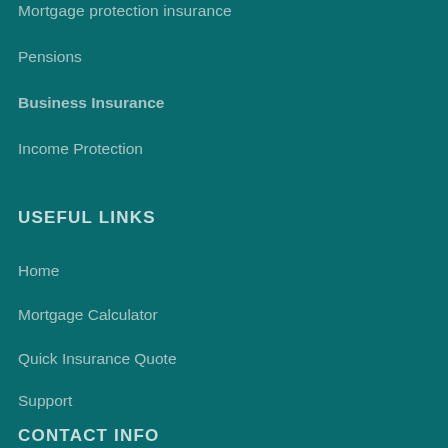Mortgage protection insurance
Pensions
Business Insurance
Income Protection
USEFUL LINKS
Home
Mortgage Calculator
Quick Insurance Quote
Support
Services
Contact Us
CONTACT INFO